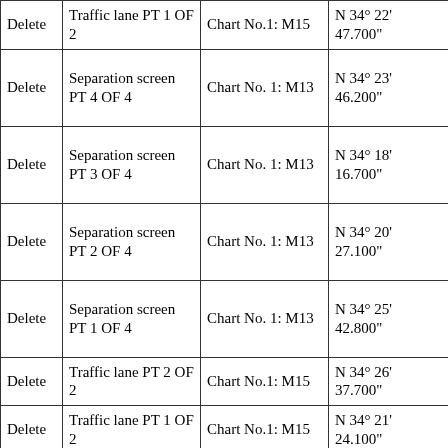| Action | Description | Chart Reference | Coordinates |
| --- | --- | --- | --- |
| Delete | Traffic lane PT 1 OF 2 | Chart No.1: M15 | N 34° 22' 47.700" |
| Delete | Separation screen PT 4 OF 4 | Chart No. 1: M13 | N 34° 23' 46.200" |
| Delete | Separation screen PT 3 OF 4 | Chart No. 1: M13 | N 34° 18' 16.700" |
| Delete | Separation screen PT 2 OF 4 | Chart No. 1: M13 | N 34° 20' 27.100" |
| Delete | Separation screen PT 1 OF 4 | Chart No. 1: M13 | N 34° 25' 42.800" |
| Delete | Traffic lane PT 2 OF 2 | Chart No.1: M15 | N 34° 26' 37.700" |
| Delete | Traffic lane PT 1 OF 2 | Chart No.1: M15 | N 34° 21' 24.100" |
| Add | Separation Zone Label | SEPARATION ZONE (see note D) | N 34° 22' 50.000" |
| Add | Eastbound Traffic Lane | EASTBOUND TRAFFIC LANE | N 34° 21' 11.200" |